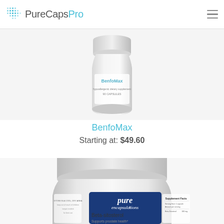PureCapsPro
[Figure (photo): BenfoMax supplement bottle, white container with blue text, hypoallergenic dietary supplement 90 capsules]
BenfoMax
Starting at: $49.60
[Figure (photo): Beta-sitosteral pure encapsulations white bottle, supports prostate health, showing supplement facts panel on side]